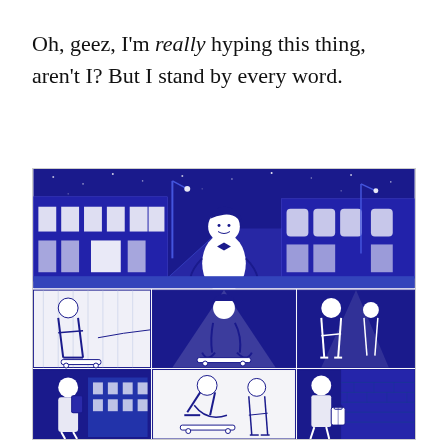Oh, geez, I'm really hyping this thing, aren't I? But I stand by every word.
[Figure (illustration): Blue and white manga/comic-style illustration showing a young man in a hoodie standing on a night street with buildings, and a grid of smaller panels below showing teenagers skateboarding, walking, and engaging in street activities.]